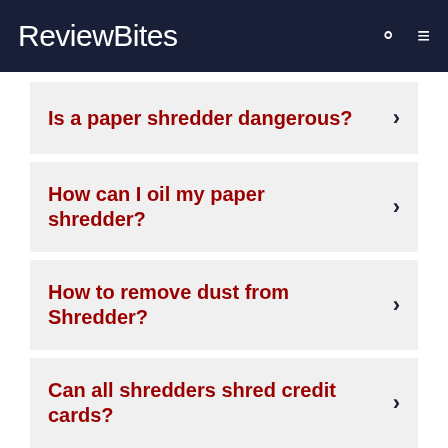ReviewBites
Is a paper shredder dangerous?
How can I oil my paper shredder?
How to remove dust from Shredder?
Can all shredders shred credit cards?